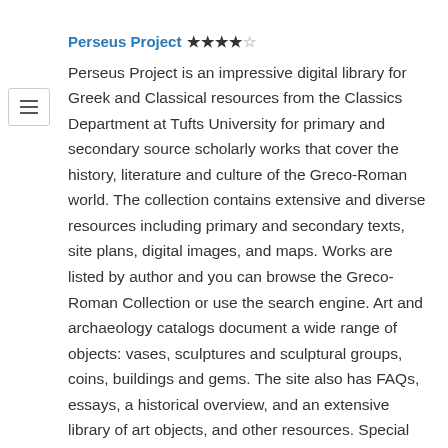Perseus Project ★★★★☆
Perseus Project is an impressive digital library for Greek and Classical resources from the Classics Department at Tufts University for primary and secondary source scholarly works that cover the history, literature and culture of the Greco-Roman world. The collection contains extensive and diverse resources including primary and secondary texts, site plans, digital images, and maps. Works are listed by author and you can browse the Greco-Roman Collection or use the search engine. Art and archaeology catalogs document a wide range of objects: vases, sculptures and sculptural groups, coins, buildings and gems. The site also has FAQs, essays, a historical overview, and an extensive library of art objects, and other resources. Special exhibits include The Ancient Olympics and Hercules. Site is updated regularly.